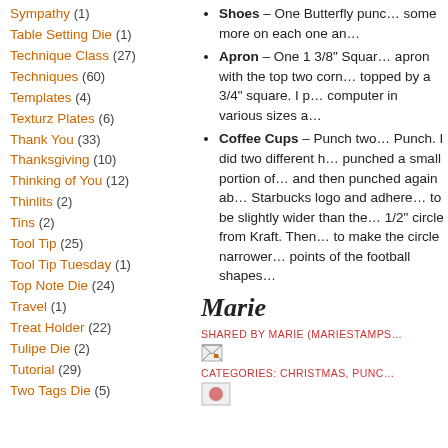Sympathy (1)
Table Setting Die (1)
Technique Class (27)
Techniques (60)
Templates (4)
Texturz Plates (6)
Thank You (33)
Thanksgiving (10)
Thinking of You (12)
Thinlits (2)
Tins (2)
Tool Tip (25)
Tool Tip Tuesday (1)
Top Note Die (24)
Travel (1)
Treat Holder (22)
Tulipe Die (2)
Tutorial (29)
Two Tags Die (5)
Shoes – One Butterfly punch... some more on each one an...
Apron – One 1 3/8" Square apron with the top two corn... topped by a 3/4" square. I p... computer in various sizes a...
Coffee Cups – Punch two... Punch. I did two different h... punched a small portion of... and then punched again ab... Starbucks logo and adhered... to be slightly wider than the... 1/2" circle from Kraft. Then... to make the circle narrower... points of the football shapes...
Marie
SHARED BY MARIE (MARIESTAMPS...
CATEGORIES: CHRISTMAS, PUNC...